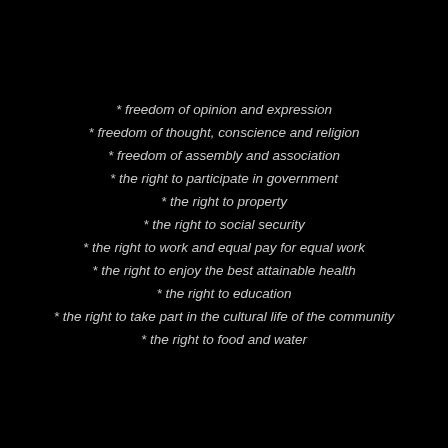* freedom of opinion and expression
* freedom of thought, conscience and religion
* freedom of assembly and association
* the right to participate in government
* the right to property
* the right to social security
* the right to work and equal pay for equal work
* the right to enjoy the best attainable health
* the right to education
* the right to take part in the cultural life of the community
* the right to food and water